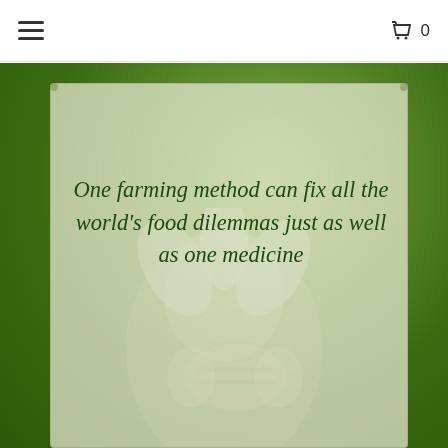≡  🛒 0
[Figure (photo): A screenshot of a website showing a decorative image/poster overlaid on a blurred green nature background. The poster features a bee on a flower (borage) with a semi-transparent light green/cream card overlay containing a quote in dark green italic serif font: 'One farming method can fix all the world's food dilemmas just as well as one medicine...' The website header shows a hamburger menu icon on the left and a shopping cart icon with '0' on the right.]